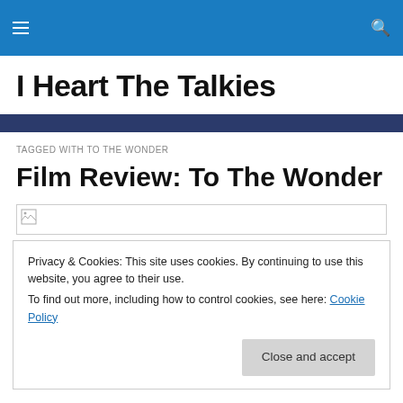I Heart The Talkies — navigation bar with hamburger menu and search icon
I Heart The Talkies
TAGGED WITH TO THE WONDER
Film Review: To The Wonder
[Figure (other): Broken image placeholder icon]
Privacy & Cookies: This site uses cookies. By continuing to use this website, you agree to their use.
To find out more, including how to control cookies, see here: Cookie Policy
Close and accept